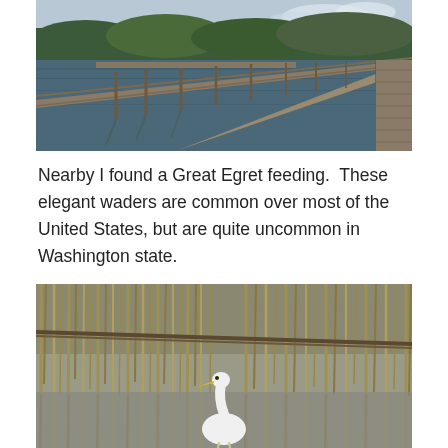[Figure (photo): A long wooden pier/boardwalk extending over calm water, with forested hills in the background. The pier curves slightly to the right. Overcast sky with clouds.]
Nearby I found a Great Egret feeding.  These elegant waders are common over most of the United States, but are quite uncommon in Washington state.
[Figure (photo): A Great Egret (white bird with yellow beak) standing in shallow water among tall marsh reeds/cattail stalks. The reeds cast reflections in the grey water.]